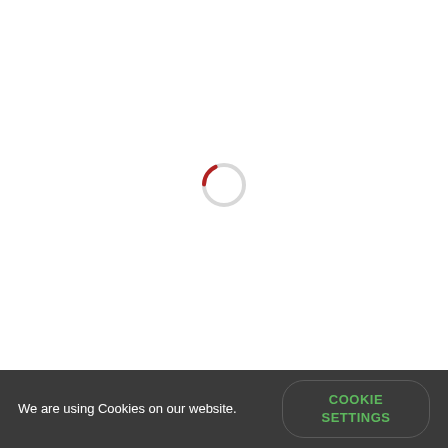[Figure (other): Loading spinner: a circular ring with a red arc at the top-left and a light gray arc for the rest, centered on a white background]
We are using Cookies on our website.
COOKIE SETTINGS